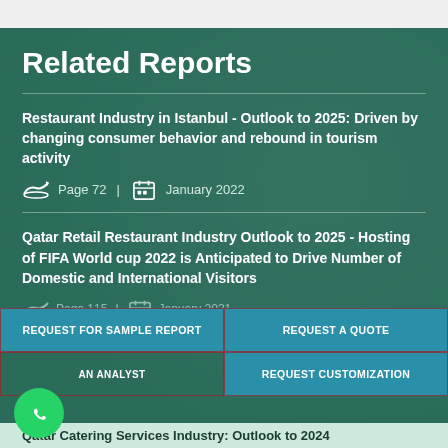Related Reports
Restaurant Industry in Istanbul - Outlook to 2025: Driven by changing consumer behavior and rebound in tourism activity
Page 72 | January 2022
Qatar Retail Restaurant Industry Outlook to 2025 - Hosting of FIFA World cup 2022 is Anticipated to Drive Number of Domestic and International Visitors
Page 115 | January 2021
REQUEST FOR SAMPLE REPORT
REQUEST A QUOTE
AN ANALYST
REQUEST CUSTOMIZATION
Qatar Catering Services Industry: Outlook to 2024